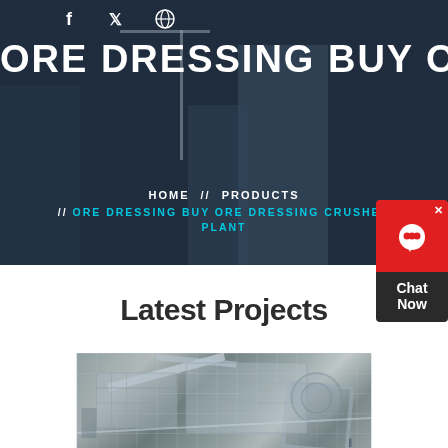[Figure (photo): Hero banner with construction/industrial background showing buildings and cranes with dark overlay]
ORE DRESSING BUY ORE DRESSING CRUSHER PLANT
HOME // PRODUCTS // ORE DRESSING BUY ORE DRESSING CRUSHER PLANT
Latest Projects
[Figure (photo): Industrial machinery/ore dressing equipment inside a facility]